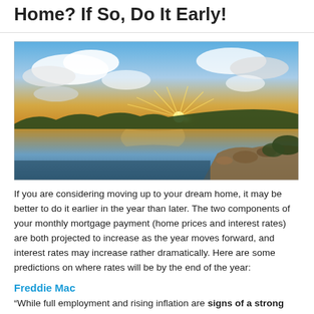Home? If So, Do It Early!
[Figure (photo): Landscape sunset photo over a calm lake with dramatic clouds and rocky shoreline, golden sun rays reflecting on the water surface.]
If you are considering moving up to your dream home, it may be better to do it earlier in the year than later. The two components of your monthly mortgage payment (home prices and interest rates) are both projected to increase as the year moves forward, and interest rates may increase rather dramatically. Here are some predictions on where rates will be by the end of the year:
Freddie Mac
“While full employment and rising inflation are signs of a strong